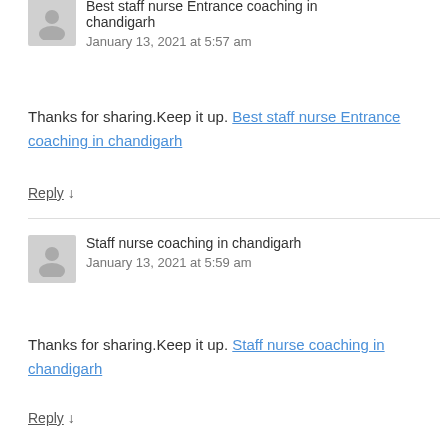Best staff nurse Entrance coaching in chandigarh
January 13, 2021 at 5:57 am
Thanks for sharing.Keep it up. Best staff nurse Entrance coaching in chandigarh
Reply ↓
Staff nurse coaching in chandigarh
January 13, 2021 at 5:59 am
Thanks for sharing.Keep it up. Staff nurse coaching in chandigarh
Reply ↓